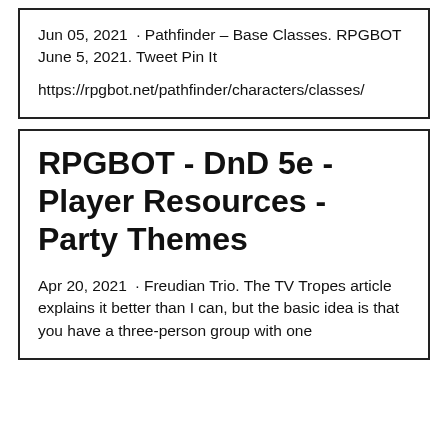Jun 05, 2021  · Pathfinder – Base Classes. RPGBOT June 5, 2021. Tweet Pin It
https://rpgbot.net/pathfinder/characters/classes/
RPGBOT - DnD 5e - Player Resources - Party Themes
Apr 20, 2021  · Freudian Trio. The TV Tropes article explains it better than I can, but the basic idea is that you have a three-person group with one